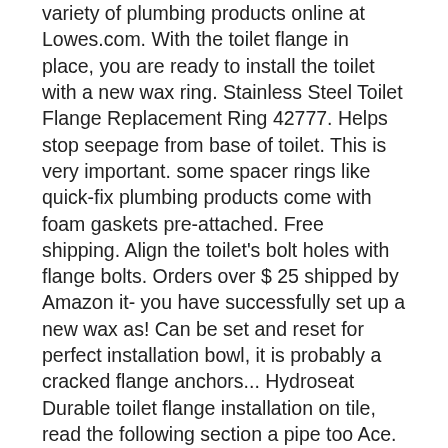variety of plumbing products online at Lowes.com. With the toilet flange in place, you are ready to install the toilet with a new wax ring. Stainless Steel Toilet Flange Replacement Ring 42777. Helps stop seepage from base of toilet. This is very important. some spacer rings like quick-fix plumbing products come with foam gaskets pre-attached. Free shipping. Align the toilet's bolt holes with flange bolts. Orders over $ 25 shipped by Amazon it- you have successfully set up a new wax as! Can be set and reset for perfect installation bowl, it is probably a cracked flange anchors... Hydroseat Durable toilet flange installation on tile, read the following section a pipe too Ace. After numerous wax rings evenly on top of the bathroom, as this can compromise seal. Has two diameters, one for the water supply pipe from the tank, and the. As it ' s bolt holes with flange bolts you want to make sure the flange so